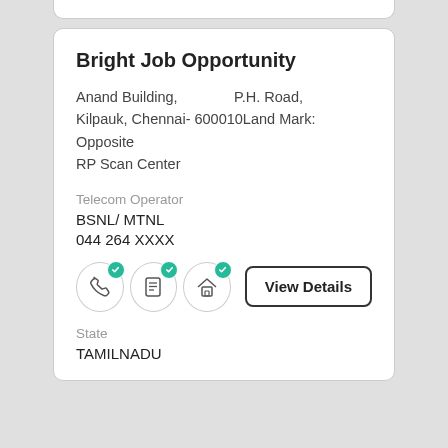Bright Job Opportunity
Anand Building,                    P.H. Road, Kilpauk, Chennai- 600010Land Mark: Opposite RP Scan Center
Telecom Operator
BSNL/ MTNL
044 264 XXXX
[Figure (infographic): Three icon circles with green checkmarks (phone, list/document, house) followed by a View Details button]
State
TAMILNADU